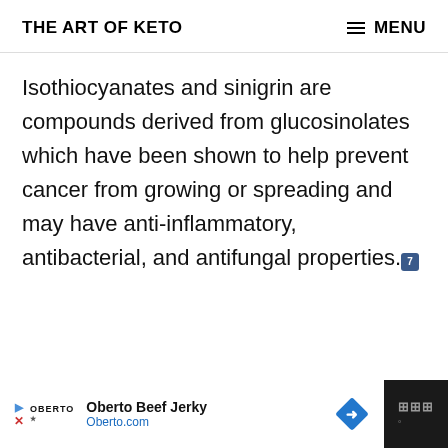THE ART OF KETO    MENU
Isothiocyanates and sinigrin are compounds derived from glucosinolates which have been shown to help prevent cancer from growing or spreading and may have anti-inflammatory, antibacterial, and antifungal properties. [7]
[Figure (other): Advertisement banner: Oberto Beef Jerky, Oberto.com with logo and navigation arrow]